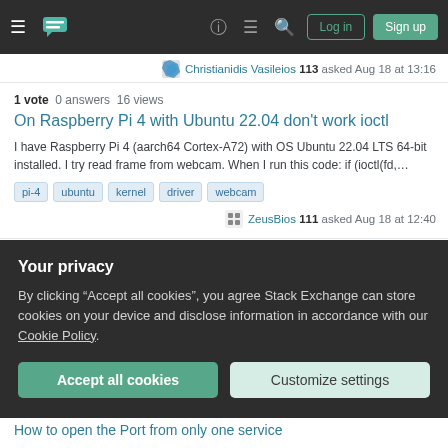Stack Exchange navigation bar with hamburger menu, logo, help, chat, search icons, Log in and Sign up buttons
Christianidis Vasileios 113 asked Aug 18 at 13:16
1 vote  0 answers  16 views
On Raspberry Pi 4 with Ubuntu 22.04 don't work ioctl
I have Raspberry Pi 4 (aarch64 Cortex-A72) with OS Ubuntu 22.04 LTS 64-bit installed. I try read frame from webcam. When I run this code: if (ioctl(fd,...
pi-4
ubuntu
kernel
driver
webcam
ZeusBios 111 asked Aug 18 at 12:40
0 votes  0 answers  19 views
Raspberry Pi OS root filesystem on a LVM LV
Your privacy
By clicking "Accept all cookies", you agree Stack Exchange can store cookies on your device and disclose information in accordance with our Cookie Policy.
Accept all cookies
Customize settings
How to open the Port from only one service